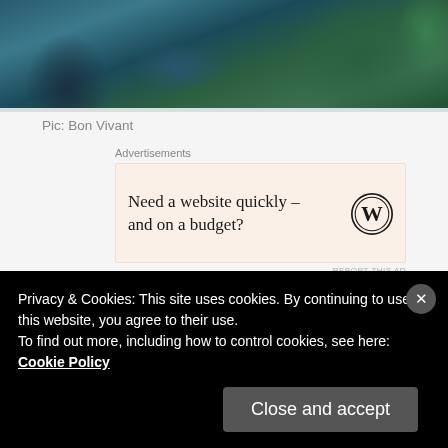[Figure (photo): Interior photo of Bon Vivant restaurant showing teal/blue chairs around a dark dining table with plants in the background]
Pic: Bon Vivant
Advertisements
[Figure (other): Advertisement: Need a website quickly – and on a budget? with WordPress logo]
Where: 75-77 Marchmont Street, London WC1N 1AP
Make your way over to Bon Vivant on Marchmont Street
Privacy & Cookies: This site uses cookies. By continuing to use this website, you agree to their use.
To find out more, including how to control cookies, see here: Cookie Policy